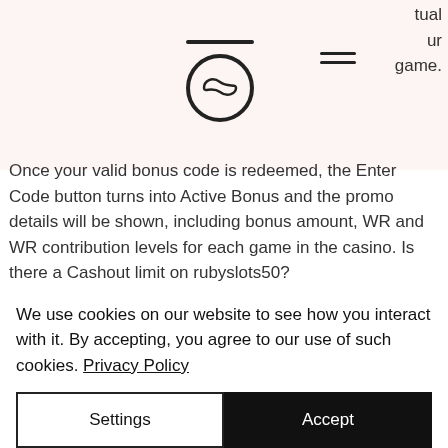[Figure (logo): Circular logo with infinity symbol and horizontal bar on top]
tual
ur
game.
Once your valid bonus code is redeemed, the Enter Code button turns into Active Bonus and the promo details will be shown, including bonus amount, WR and WR contribution levels for each game in the casino. Is there a Cashout limit on rubyslots50?
000 tzs; treasure room – 180. Play online poker, casino and slot machine games, bet live on sports sokabet casino – online live casino and slot casino. Discover the key to
We use cookies on our website to see how you interact with it. By accepting, you agree to our use of such cookies. Privacy Policy
Settings
Accept